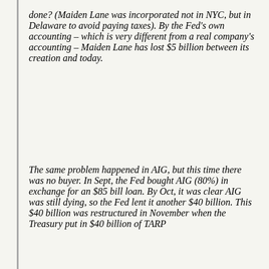done? (Maiden Lane was incorporated not in NYC, but in Delaware to avoid paying taxes). By the Fed's own accounting – which is very different from a real company's accounting – Maiden Lane has lost $5 billion between its creation and today.
The same problem happened in AIG, but this time there was no buyer. In Sept, the Fed bought AIG (80%) in exchange for an $85 bill loan. By Oct, it was clear AIG was still dying, so the Fed lent it another $40 billion. This $40 billion was restructured in November when the Treasury put in $40 billion of TARP